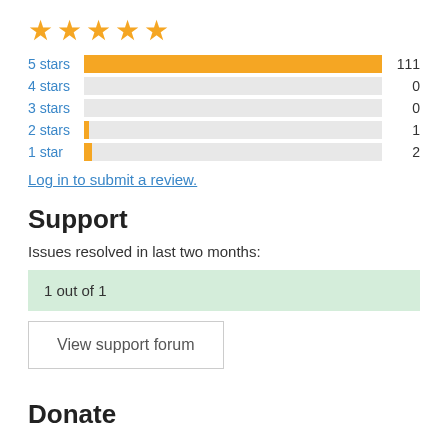[Figure (other): Five golden star rating icons]
[Figure (bar-chart): Star ratings distribution]
Log in to submit a review.
Support
Issues resolved in last two months:
1 out of 1
View support forum
Donate